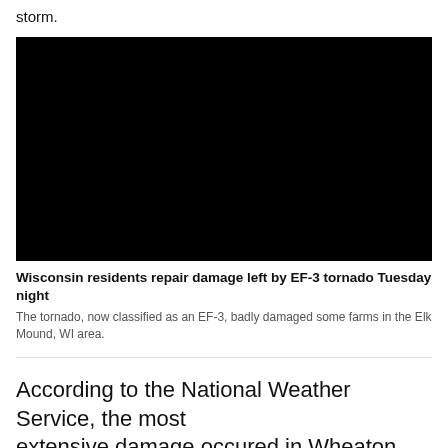storm.
[Figure (photo): Black rectangle representing a video or image placeholder]
Wisconsin residents repair damage left by EF-3 tornado Tuesday night
The tornado, now classified as an EF-3, badly damaged some farms in the Elk Mound, WI area.
According to the National Weather Service, the most extensive damage occured in Wheaton, just east of Elk